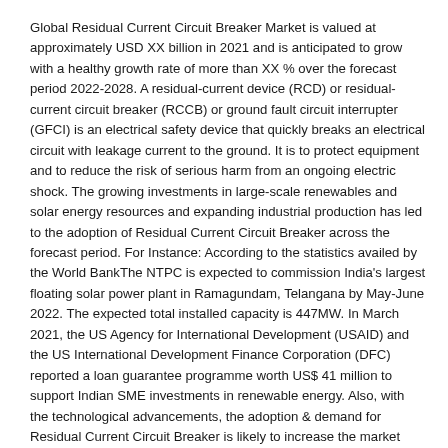Global Residual Current Circuit Breaker Market is valued at approximately USD XX billion in 2021 and is anticipated to grow with a healthy growth rate of more than XX % over the forecast period 2022-2028. A residual-current device (RCD) or residual-current circuit breaker (RCCB) or ground fault circuit interrupter (GFCI) is an electrical safety device that quickly breaks an electrical circuit with leakage current to the ground. It is to protect equipment and to reduce the risk of serious harm from an ongoing electric shock. The growing investments in large-scale renewables and solar energy resources and expanding industrial production has led to the adoption of Residual Current Circuit Breaker across the forecast period. For Instance: According to the statistics availed by the World BankThe NTPC is expected to commission India's largest floating solar power plant in Ramagundam, Telangana by May-June 2022. The expected total installed capacity is 447MW. In March 2021, the US Agency for International Development (USAID) and the US International Development Finance Corporation (DFC) reported a loan guarantee programme worth US$ 41 million to support Indian SME investments in renewable energy. Also, with the technological advancements, the adoption & demand for Residual Current Circuit Breaker is likely to increase the market